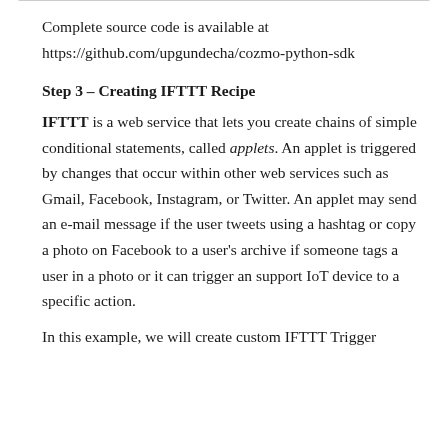Complete source code is available at https://github.com/upgundecha/cozmo-python-sdk
Step 3 – Creating IFTTT Recipe
IFTTT is a web service that lets you create chains of simple conditional statements, called applets. An applet is triggered by changes that occur within other web services such as Gmail, Facebook, Instagram, or Twitter. An applet may send an e-mail message if the user tweets using a hashtag or copy a photo on Facebook to a user's archive if someone tags a user in a photo or it can trigger an support IoT device to a specific action.
In this example, we will create custom IFTTT Trigger